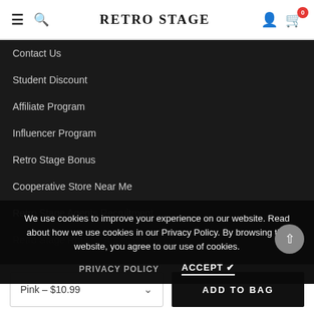RETRO STAGE
Contact Us
Student Discount
Affiliate Program
Influencer Program
Retro Stage Bonus
Cooperative Store Near Me
Retro Stage Agents Recruitment
Retro Stage Retailer Application
We use cookies to improve your experience on our website. Read about how we use cookies in our Privacy Policy. By browsing the website, you agree to our use of cookies.
PRIVACY POLICY   ACCEPT ✔
Pink – $10.99
ADD TO BAG